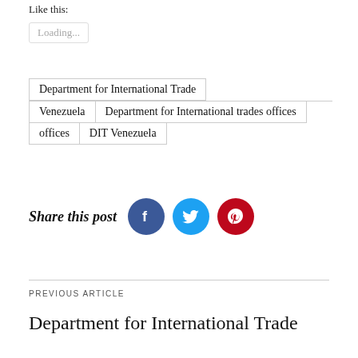Like this:
Loading...
Department for International Trade | Venezuela | Department for International trades offices | DIT Venezuela
Share this post
[Figure (other): Social media share icons: Facebook (dark blue circle with f logo), Twitter (light blue circle with bird logo), Pinterest (dark red circle with P logo)]
PREVIOUS ARTICLE
Department for International Trade